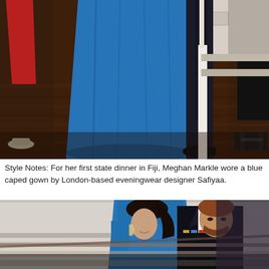[Figure (photo): Close-up photo of people standing, showing lower bodies and feet. A woman in a long blue caped gown (only lower half visible), a man in a dark suit, a woman in red dress with silver shoes on the left, and a person in black on the right, on a wooden floor.]
Style Notes: For her first state dinner in Fiji, Meghan Markle wore a blue caped gown by London-based eveningwear designer Safiyaa.
[Figure (photo): Photo of Meghan Markle and Prince Harry descending stairs. Meghan wears a blue gown and Prince Harry wears a black tuxedo with medals. They are looking down.]